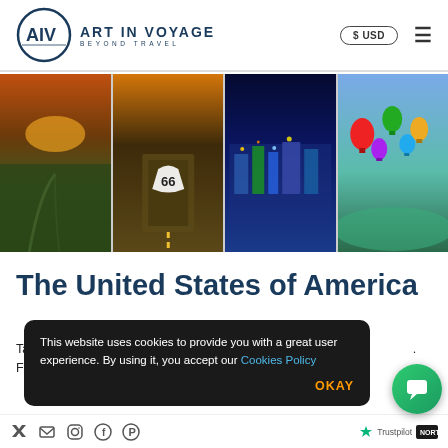Art in Voyage — Beyond Travel | $ USD
[Figure (photo): Four travel photos: aerial city view at sunset, Route 66 road marking, nighttime city lights/Albuquerque, hot air balloons over landscape]
The United States of America
Take a trip down south to Albuquerque – Summer or W... From i... llowed
This website uses cookies to provide you with a great user experience. By using it, you accept our Cookies Policy
Social media icons | Trustpilot